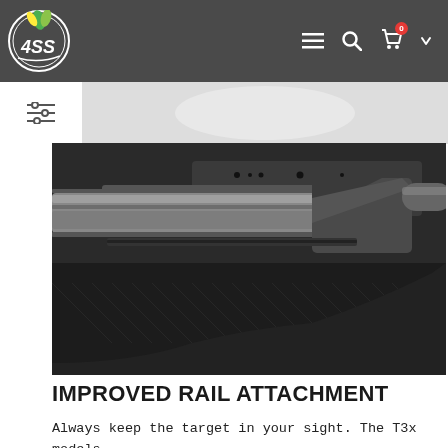ASS logo navigation bar with menu, search, cart (0) icons
[Figure (photo): Close-up photograph of a rifle receiver/barrel area showing the rail attachment system, metallic barrel, and dark textured stock]
IMPROVED RAIL ATTACHMENT
Always keep the target in your sight. The T3x models have extra screw placements on top of the receiver so